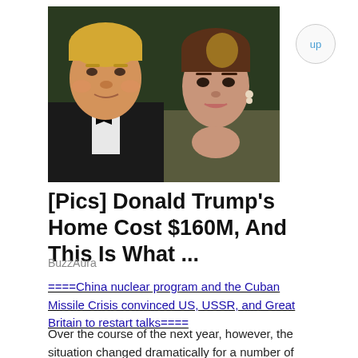[Figure (photo): Photo of Donald Trump in a tuxedo with bow tie and a woman with brown hair, likely Melania Trump, against a dark background]
[Pics] Donald Trump's Home Cost $160M, And This Is What ...
BuzzAura
====China nuclear program and the Cuban Missile Crisis convinced US, USSR, and Great Britain to restart talks====
Over the course of the next year, however, the situation changed dramatically for a number of reasons. Concerns about nuclear pro